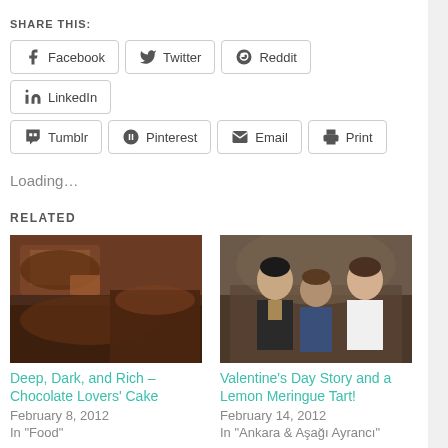SHARE THIS:
Facebook  Twitter  Reddit  LinkedIn  Tumblr  Pinterest  Email  Print
Loading…
RELATED
[Figure (photo): Close-up photo of a slice of deep dark chocolate cake]
Deep, Dark, and Rich – Chocolate Lovers' Cake
February 8, 2012
In "Food"
[Figure (photo): Photo of three people posing together at an event]
Valentine's Day Story and a Lemon Meringue Tart!
February 14, 2012
In "Ankara & Aşağı Ayrancı"